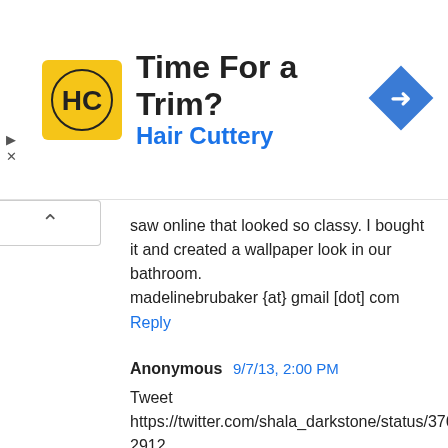[Figure (screenshot): Hair Cuttery advertisement banner with logo, 'Time For a Trim?' headline, and navigation icon]
saw online that looked so classy. I bought it and created a wallpaper look in our bathroom.
madelinebrubaker {at} gmail [dot] com
Reply
Anonymous 9/7/13, 2:00 PM
Tweet link: https://twitter.com/shala_darkstone/status/376419597752102912
Reply
kjasus 9/15/13, 10:13 AM
a trip to the ocean inspired our bathroom makeover
Reply